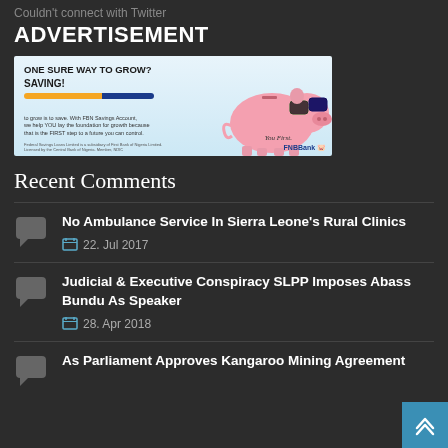Couldn't connect with Twitter
ADVERTISEMENT
[Figure (other): FNBBank advertisement banner: ONE SURE WAY TO GROW? SAVING! with pink piggy bank wearing sunglasses. Text: to grow is to save. With FBN Savings Account, we help YOU lay the foundation for growth because that is the FIRST step to a future you can control. You First. FNBBank]
Recent Comments
No Ambulance Service In Sierra Leone's Rural Clinics
22. Jul 2017
Judicial & Executive Conspiracy SLPP Imposes Abass Bundu As Speaker
28. Apr 2018
As Parliament Approves Kangaroo Mining Agreement